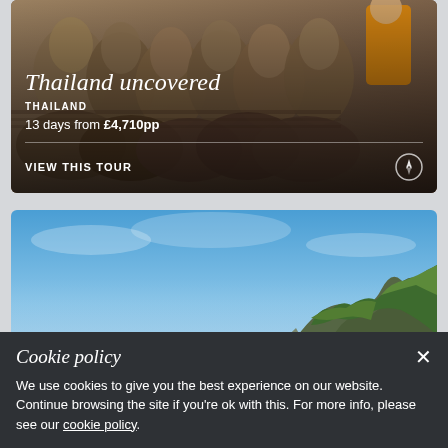[Figure (photo): Stone Buddha statues in Thailand with orange-robed monk visible, dark warm tones. Card with tour information overlay showing title, country, price, and view tour link.]
Thailand uncovered
THAILAND
13 days from £4,710pp
VIEW THIS TOUR
[Figure (photo): Bright blue sky with green tree-covered limestone karst cliffs in the bottom right, likely Krabi or Phang Nga area Thailand.]
Cookie policy
We use cookies to give you the best experience on our website. Continue browsing the site if you're ok with this. For more info, please see our cookie policy.